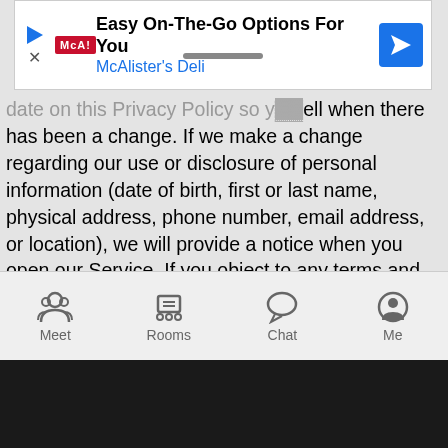[Figure (screenshot): Advertisement banner for McAlister's Deli with play icon, logo, title 'Easy On-The-Go Options For You', subtitle 'McAlister's Deli', and navigation arrow icon]
date on this Privacy Policy so you tell when there has been a change. If we make a change regarding our use or disclosure of personal information (date of birth, first or last name, physical address, phone number, email address, or location), we will provide a notice when you open our Service. If you object to any terms and conditions of the Privacy Policy or any subsequent changes or you become dissatisfied with our Service or Moco in any way, your only option is to delete your account. Your continued use of our Service after we post a revised Privacy Policy means that you agree to the revisions.
XIII. Language
This Privacy Policy was written in English. If you are reading a translation and it conflicts with the English version, please note that the English version controls.
[Figure (screenshot): App navigation tab bar with four tabs: Meet (people icon), Rooms (group/table icon), Chat (speech bubble icon), Me (profile icon)]